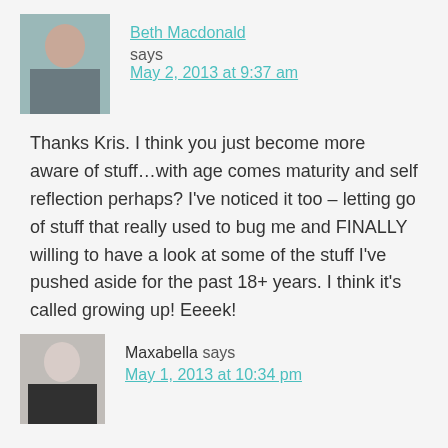Beth Macdonald says
May 2, 2013 at 9:37 am
Thanks Kris. I think you just become more aware of stuff…with age comes maturity and self reflection perhaps? I've noticed it too – letting go of stuff that really used to bug me and FINALLY willing to have a look at some of the stuff I've pushed aside for the past 18+ years. I think it's called growing up! Eeeek!
Reply
Maxabella says
May 1, 2013 at 10:34 pm